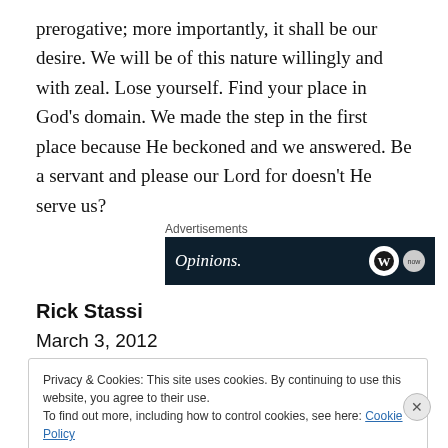prerogative; more importantly, it shall be our desire. We will be of this nature willingly and with zeal. Lose yourself. Find your place in God’s domain. We made the step in the first place because He beckoned and we answered. Be a servant and please our Lord for doesn’t He serve us?
[Figure (other): Advertisement banner with dark navy background showing 'Opinions.' text in italic white font with WordPress logo circle icons on the right]
Rick Stassi
March 3, 2012
Privacy & Cookies: This site uses cookies. By continuing to use this website, you agree to their use.
To find out more, including how to control cookies, see here: Cookie Policy
Close and accept